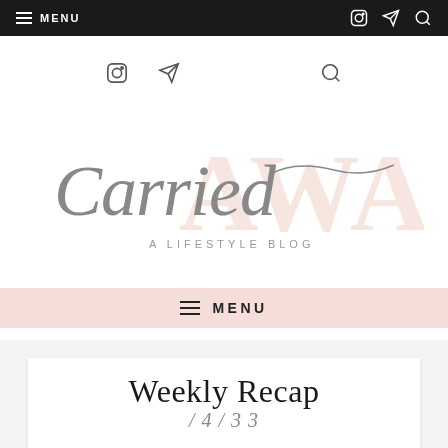≡ MENU  [instagram] [send] [search]
[Figure (logo): Carried Away - A Lifestyle Blog script and serif logo with pink 'AWAY' watermark text]
≡ MENU
Weekly Recap